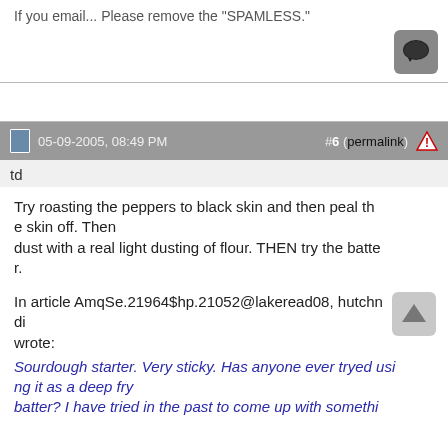If you email... Please remove the "SPAMLESS."
[Figure (other): Chat/message bubble icon in a dark rounded square button]
05-09-2005, 08:49 PM
#6 (permalink)
td
Try roasting the peppers to black skin and then peal the skin off. Then dust with a real light dusting of flour. THEN try the batter.
In article AmqSe.21964$hp.21052@lakeread08, hutchndi wrote:
Sourdough starter. Very sticky. Has anyone ever tryed using it as a deep fry batter? I have tried in the past to come up with somethi